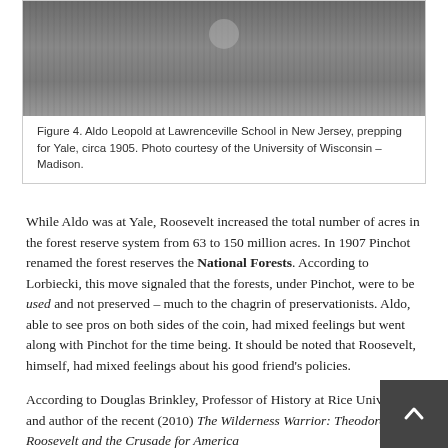[Figure (photo): Black and white photograph of Aldo Leopold at Lawrenceville School, upper portion of image showing a figure in dark clothing]
Figure 4. Aldo Leopold at Lawrenceville School in New Jersey, prepping for Yale, circa 1905. Photo courtesy of the University of Wisconsin – Madison.
While Aldo was at Yale, Roosevelt increased the total number of acres in the forest reserve system from 63 to 150 million acres. In 1907 Pinchot renamed the forest reserves the National Forests. According to Lorbiecki, this move signaled that the forests, under Pinchot, were to be used and not preserved – much to the chagrin of preservationists. Aldo, able to see pros on both sides of the coin, had mixed feelings but went along with Pinchot for the time being. It should be noted that Roosevelt, himself, had mixed feelings about his good friend's policies.
According to Douglas Brinkley, Professor of History at Rice University and author of the recent (2010) The Wilderness Warrior: Theodore Roosevelt and the Crusade for America